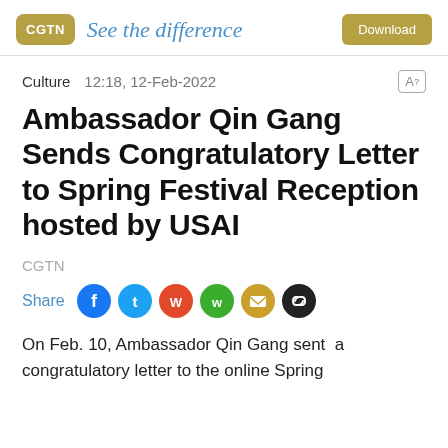CGTN See the difference
Culture  12:18, 12-Feb-2022
Ambassador Qin Gang Sends Congratulatory Letter to Spring Festival Reception hosted by USAI
CGTN
Share
On Feb. 10, Ambassador Qin Gang sent  a congratulatory letter to the online Spring